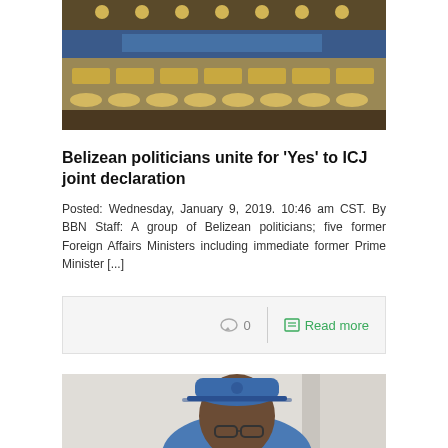[Figure (photo): Photo of what appears to be a UN or government assembly hall with rows of seats with golden name plates]
Belizean politicians unite for ‘Yes’ to ICJ joint declaration
Posted: Wednesday, January 9, 2019. 10:46 am CST. By BBN Staff: A group of Belizean politicians; five former Foreign Affairs Ministers including immediate former Prime Minister [...]
[Figure (photo): Photo of a man wearing a blue cap and blue shirt, looking at the camera]